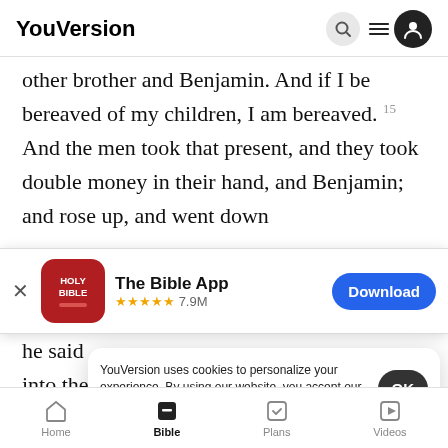YouVersion
other brother and Benjamin. And if I be bereaved of my children, I am bereaved. 15 And the men took that present, and they took double money in their hand, and Benjamin; and rose up, and went down
[Figure (screenshot): App store banner for The Bible App with Holy Bible icon, 5 star rating 7.9M reviews, and Download button]
he said
into the
YouVersion uses cookies to personalize your experience. By using our website, you accept our use of cookies as described in our Privacy Policy. OK
Home  Bible  Plans  Videos